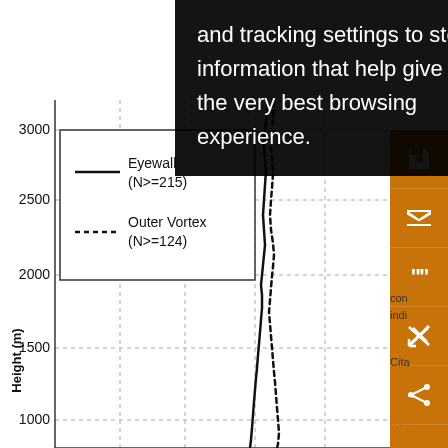and tracking settings to store information that help give you the very best browsing experience.
[Figure (line-chart): Vertical profile chart showing Height (m) on y-axis from ~800 to 3000m. Two lines: solid (Eyewall N>=215) and dashed (Outer Vortex N>=124) descending from top to bottom, closely spaced, with a legend box.]
con
indi
Cita
10.1
043-